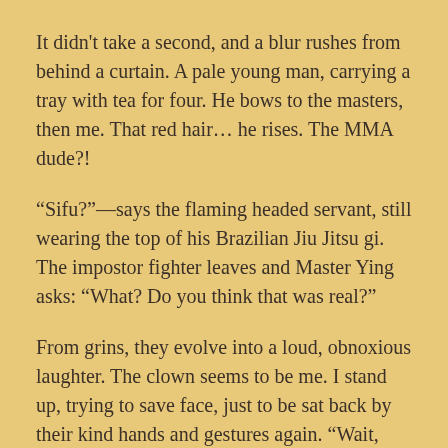It didn't take a second, and a blur rushes from behind a curtain. A pale young man, carrying a tray with tea for four. He bows to the masters, then me. That red hair… he rises. The MMA dude?!
“Sifu?”—says the flaming headed servant, still wearing the top of his Brazilian Jiu Jitsu gi. The impostor fighter leaves and Master Ying asks: “What? Do you think that was real?”
From grins, they evolve into a loud, obnoxious laughter. The clown seems to be me. I stand up, trying to save face, just to be sat back by their kind hands and gestures again. “Wait, young girl. You are one of us now. But you have to complete your training.”